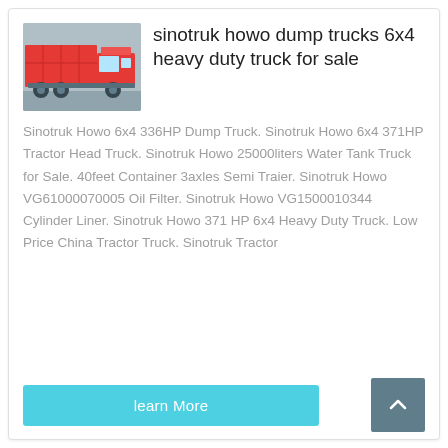[Figure (photo): Red Sinotruk Howo dump truck, side view, with red cab and red cargo box]
sinotruk howo dump trucks 6x4 heavy duty truck for sale
Sinotruk Howo 6x4 336HP Dump Truck. Sinotruk Howo 6x4 371HP Tractor Head Truck. Sinotruk Howo 25000liters Water Tank Truck for Sale. 40feet Container 3axles Semi Traier. Sinotruk Howo VG61000070005 Oil Filter. Sinotruk Howo VG1500010344 Cylinder Liner. Sinotruk Howo 371 HP 6x4 Heavy Duty Truck. Low Price China Tractor Truck. Sinotruk Tractor